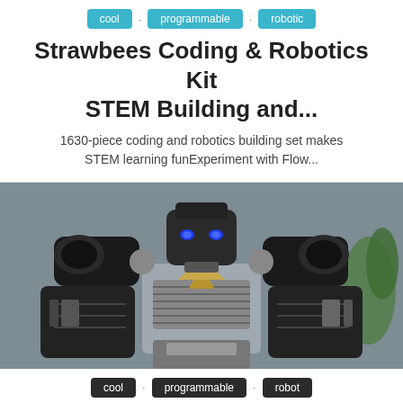cool · programmable · robotic
Strawbees Coding & Robotics Kit STEM Building and...
1630-piece coding and robotics building set makes STEM learning funExperiment with Flow...
[Figure (photo): Close-up photo of a black and silver robotic toy (Robosen T9) with glowing blue eyes, raised fists, against a blurred grey background with a green plant.]
cool · programmable · robot
Robosen T9 – Advanced